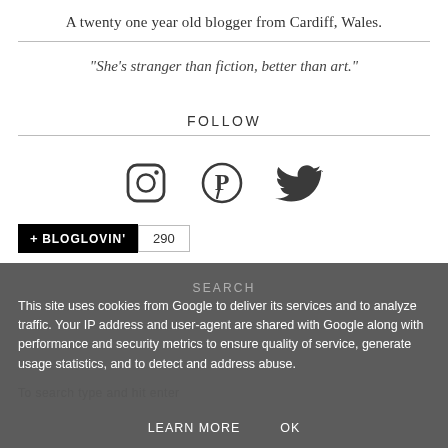A twenty one year old blogger from Cardiff, Wales.
"She's stranger than fiction, better than art."
FOLLOW
[Figure (illustration): Three social media icons: Instagram, Pinterest, and Twitter (bird icon), displayed in a row centered on the page.]
[Figure (logo): Bloglovin' follow button widget showing black '+BLOGLOVIN'' button and follower count of 290.]
This site uses cookies from Google to deliver its services and to analyze traffic. Your IP address and user-agent are shared with Google along with performance and security metrics to ensure quality of service, generate usage statistics, and to detect and address abuse.
LEARN MORE    OK